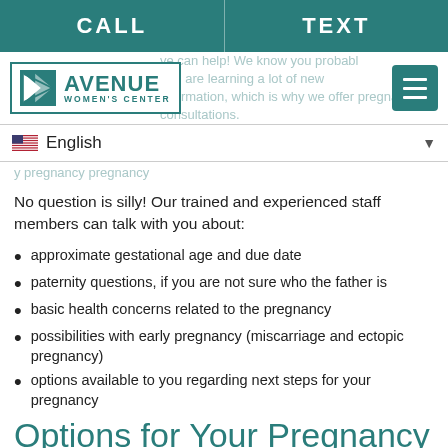CALL | TEXT
[Figure (logo): Avenue Women's Center logo with teal icon and teal text]
If you are feeling overwhelmed and uncertain about an unplanned pregnancy, we can help! We know you probably have lots of questions and are learning a lot of new information, which is why we offer pregnancy consultations.
English (language selector dropdown)
your pregnancy pregnancy
No question is silly! Our trained and experienced staff members can talk with you about:
approximate gestational age and due date
paternity questions, if you are not sure who the father is
basic health concerns related to the pregnancy
possibilities with early pregnancy (miscarriage and ectopic pregnancy)
options available to you regarding next steps for your pregnancy
Options for Your Pregnancy
As you think about how to proceed with your pregnancy, you